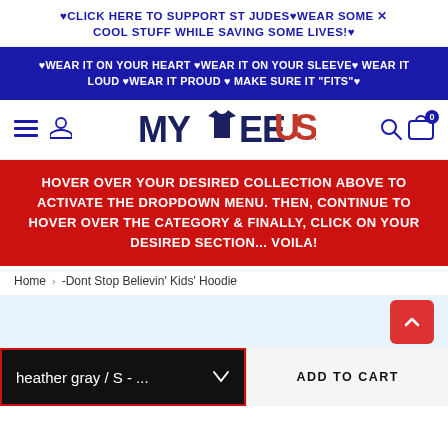♥CLICK HERE TO SUPPORT ST JUDES♥WEAR SOME × COOL STUFF WHILE SAVING SOME LIVES!♥
♥WEAR IT ON YOUR HEART ♥WEAR IT ON YOUR SLEEVE♥ WEAR IT LOUD ♥WEAR IT PROUD ♥ MAKE SURE IT "FITS"♥
[Figure (logo): MyTee USA logo with a t-shirt graphic replacing the T in MyTee, and USA styled with American flag colors]
HOVER OVER YOUR DESIRED COLLECTION ABOVE TO ACTIVATE THE DROPDOWN MENU. THEN, CONTINUE TO HOVER OVER THE CATEGORY & FINALLY, CLICK ON YOUR DESIRED SECTION... VOILA!
Home › -Dont Stop Believin' Kids' Hoodie
heather gray / S - ...
ADD TO CART